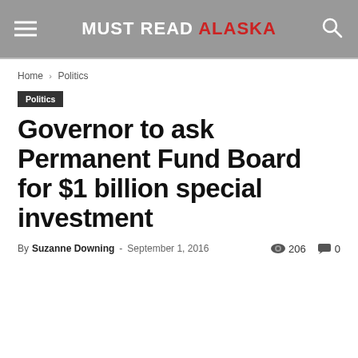MUST READ ALASKA
Home › Politics
Politics
Governor to ask Permanent Fund Board for $1 billion special investment
By Suzanne Downing - September 1, 2016  206  0